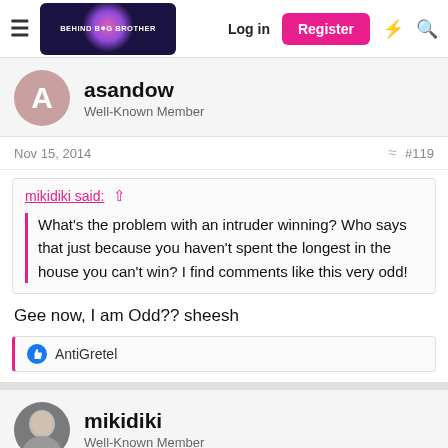Behind Big Brother — Log in | Register
asandow
Well-Known Member
Nov 15, 2014  #119
mikidiki said: ↑
What's the problem with an intruder winning? Who says that just because you haven't spent the longest in the house you can't win? I find comments like this very odd!
Gee now, I am Odd?? sheesh
AntiGretel
mikidiki
Well-Known Member